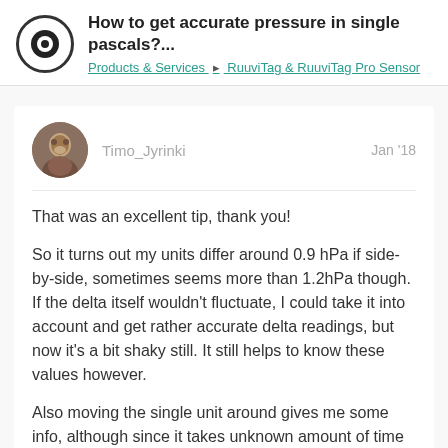How to get accurate pressure in single pascals?...
Products & Services ▸ RuuviTag & RuuviTag Pro Sensor
Timo_Jyrinki   Jan '18
That was an excellent tip, thank you!
So it turns out my units differ around 0.9 hPa if side-by-side, sometimes seems more than 1.2hPa though. If the delta itself wouldn't fluctuate, I could take it into account and get rather accurate delta readings, but now it's a bit shaky still. It still helps to know these values however.
Also moving the single unit around gives me some info, although since it takes unknown amount of time to accomodiate to the environment, the environment itself h...
1 / 6